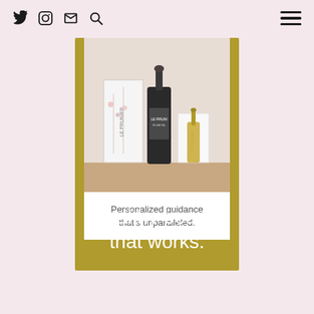Twitter Instagram Mail Search | Menu
[Figure (photo): Le Prunier skincare product bottles and boxes arranged on a white surface — a tall dark dropper bottle, a white box with floral print labeled LE PRUNIER, and a small amber dropper bottle with box]
Personalized guidance that's unparalleled.
Healthy beauty that works.